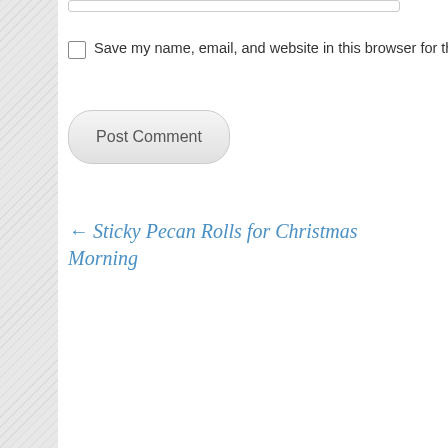Save my name, email, and website in this browser for the next
Post Comment
← Sticky Pecan Rolls for Christmas Morning